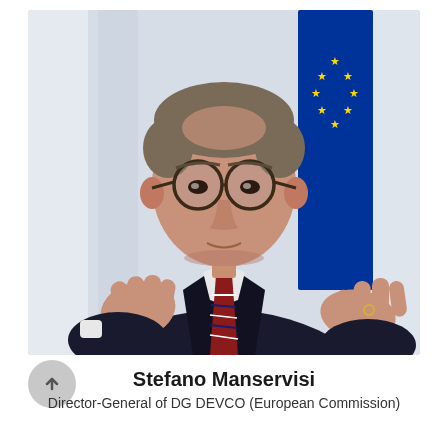[Figure (photo): Portrait photo of Stefano Manservisi, a middle-aged man with glasses, grey-brown hair, wearing a dark suit and striped tie, gesturing with both hands in front of a blue EU flag background.]
Stefano Manservisi
Director-General of DG DEVCO (European Commission)